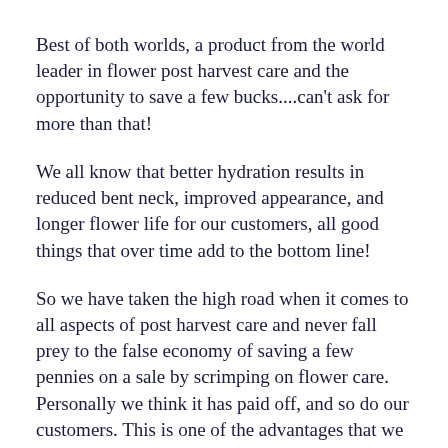Best of both worlds, a product from the world leader in flower post harvest care and the opportunity to save a few bucks....can't ask for more than that!
We all know that better hydration results in reduced bent neck, improved appearance, and longer flower life for our customers, all good things that over time add to the bottom line!
So we have taken the high road when it comes to all aspects of post harvest care and never fall prey to the false economy of saving a few pennies on a sale by scrimping on flower care. Personally we think it has paid off, and so do our customers. This is one of the advantages that we feel that as a small independent shop we have over the big guys. Frankly we don't have a head office accountant breathing down our necks about adding a couple of cents of cost onto a $30.00 sale. We